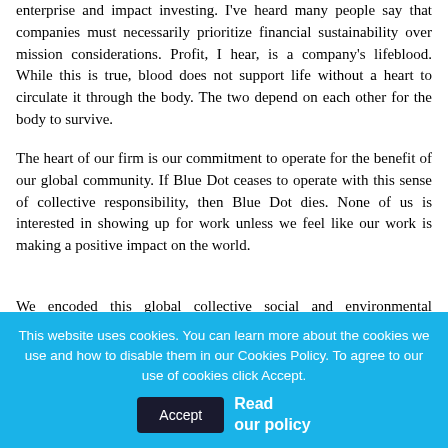enterprise and impact investing. I've heard many people say that companies must necessarily prioritize financial sustainability over mission considerations. Profit, I hear, is a company's lifeblood. While this is true, blood does not support life without a heart to circulate it through the body. The two depend on each other for the body to survive.
The heart of our firm is our commitment to operate for the benefit of our global community. If Blue Dot ceases to operate with this sense of collective responsibility, then Blue Dot dies. None of us is interested in showing up for work unless we feel like our work is making a positive impact on the world.
We encoded this global collective social and environmental commitment in our organizational DNA by organizing our cooperative as a statutory benefit corporation. In addition to the
This website uses cookies. You can learn more about the cookies we use and how to disable them in our Cookies Policy. To agree to our use of cookies click Accept.